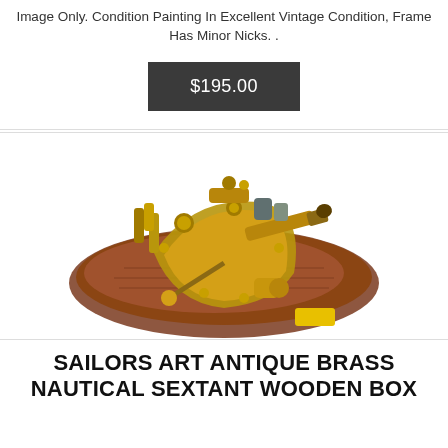Image Only. Condition Painting In Excellent Vintage Condition, Frame Has Minor Nicks. .
$195.00
[Figure (photo): A brass nautical sextant instrument mounted on a wooden base, displayed from above at an angle. The sextant has intricate gold-colored brass components with various adjustment knobs and mirrors.]
SAILORS ART ANTIQUE BRASS NAUTICAL SEXTANT WOODEN BOX